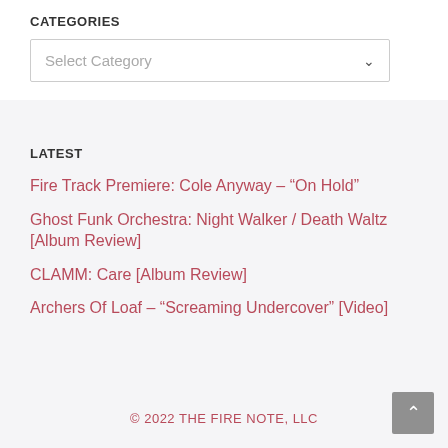CATEGORIES
Select Category
LATEST
Fire Track Premiere: Cole Anyway – “On Hold”
Ghost Funk Orchestra: Night Walker / Death Waltz [Album Review]
CLAMM: Care [Album Review]
Archers Of Loaf – “Screaming Undercover” [Video]
© 2022 THE FIRE NOTE, LLC